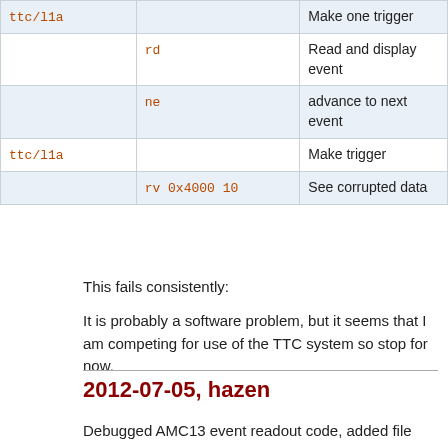| ttc/l1a |  | Make one trigger |
|  | rd | Read and display event |
|  | ne | advance to next event |
| ttc/l1a |  | Make trigger |
|  | rv 0x4000 10 | See corrupted data |
This fails consistently:
It is probably a software problem, but it seems that I am competing for use of the TTC system so stop for now.
2012-07-05, hazen
Debugged AMC13 event readout code, added file dump